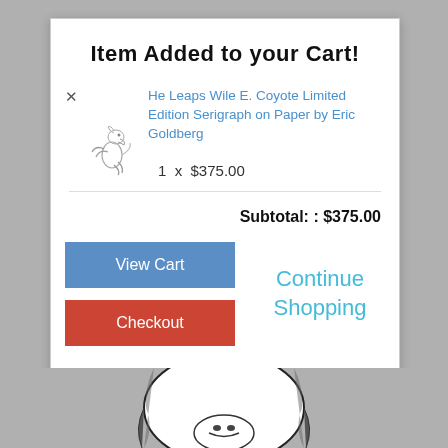Item Added to your Cart!
× He Leaps Wile E. Coyote Limited Edition Serigraph on Paper by Eric Goldberg 1 x $375.00
Subtotal: : $375.00
View Cart
Checkout
Continue Shopping
[Figure (illustration): Small sketch of Wile E. Coyote leaping, in pencil/ink style]
[Figure (illustration): Bottom portion of a cartoon character face (Wile E. Coyote), black and white illustration visible at bottom of page]